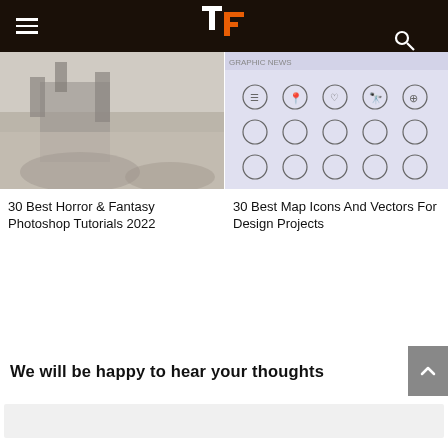[Figure (photo): Horror/fantasy landscape photo showing a misty castle ruin]
[Figure (illustration): Map icons and vectors collection on light purple/grey background]
30 Best Horror & Fantasy Photoshop Tutorials 2022
30 Best Map Icons And Vectors For Design Projects
We will be happy to hear your thoughts